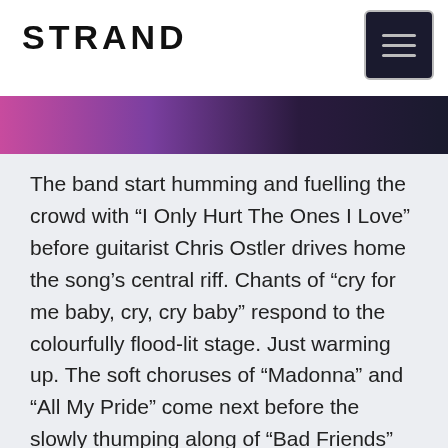STRAND
[Figure (other): Hamburger menu icon button with three horizontal lines on dark background, bordered rectangle]
[Figure (other): Color gradient banner strip transitioning from pink/purple on left to dark navy on right]
The band start humming and fuelling the crowd with “I Only Hurt The Ones I Love” before guitarist Chris Ostler drives home the song’s central riff. Chants of “cry for me baby, cry, cry baby” respond to the colourfully flood-lit stage. Just warming up. The soft choruses of “Madonna” and “All My Pride” come next before the slowly thumping along of “Bad Friends” and “Dig”.
The Electric Ballroom feels like a laid back venue tonight considering their